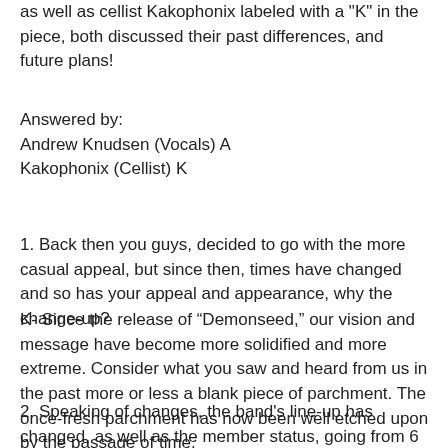as well as cellist Kakophonix labeled with a "K" in the piece, both discussed their past differences, and future plans!
Answered by:
Andrew Knudsen (Vocals) A
Kakophonix (Cellist) K
1. Back then you guys, decided to go with the more casual appeal, but since then, times have changed and so has your appeal and appearance, why the change-up?
K- Since the release of “Demonseed,” our vision and message have become more solidified and more extreme. Consider what you saw and heard from us in the past more or less a blank piece of parchment. The once-fresh parchment has now been well etched upon by the passage of time.
2. Speaking of changes, the band's line-up has changed, as well as the member status, going from 6 to 5, why the cut off?